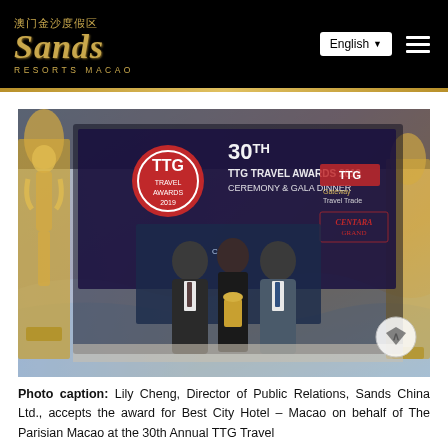澳门金沙度假区 Sands Resorts Macao | English
[Figure (photo): Three people on stage at the 30th TTG Travel Awards 2019 Ceremony & Gala Dinner. A woman in a black dress holding a golden trophy stands in the center, flanked by two men in suits. A large LED backdrop displays the event branding and logos including TTG Travel Awards 2019, TTG, Gateway Travel Trade, and Centara Grand. Golden award statues are visible on the left and right sides.]
Photo caption: Lily Cheng, Director of Public Relations, Sands China Ltd., accepts the award for Best City Hotel – Macao on behalf of The Parisian Macao at the 30th Annual TTG Travel